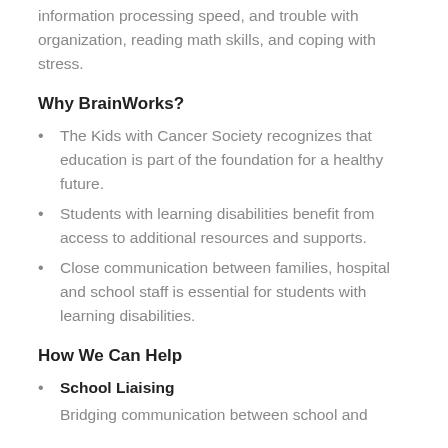information processing speed, and trouble with organization, reading math skills, and coping with stress.
Why BrainWorks?
The Kids with Cancer Society recognizes that education is part of the foundation for a healthy future.
Students with learning disabilities benefit from access to additional resources and supports.
Close communication between families, hospital and school staff is essential for students with learning disabilities.
How We Can Help
School Liaising
Bridging communication between school and